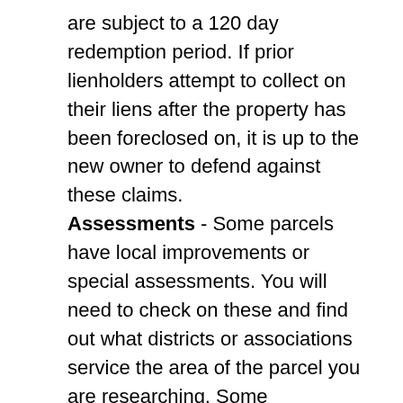are subject to a 120 day redemption period. If prior lienholders attempt to collect on their liens after the property has been foreclosed on, it is up to the new owner to defend against these claims. Assessments - Some parcels have local improvements or special assessments. You will need to check on these and find out what districts or associations service the area of the parcel you are researching. Some assessments are